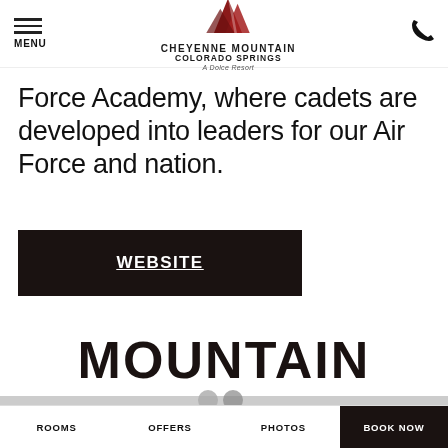MENU | CHEYENNE MOUNTAIN COLORADO SPRINGS A Dolce Resort | [phone icon]
Force Academy, where cadets are developed into leaders for our Air Force and nation.
WEBSITE
MOUNTAIN
ROOMS   OFFERS   PHOTOS   BOOK NOW